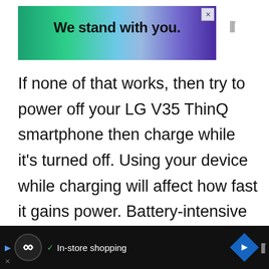[Figure (other): Advertisement banner with gradient background (green to purple) and text 'We stand with you.' in bold black, with a close button X in the top right corner and a logo to the right.]
If none of that works, then try to power off your LG V35 ThinQ smartphone then charge while it’s turned off. Using your device while charging will affect how fast it gains power. Battery-intensive apps or features that are left active may trigger the processor to become exhausted and when this happens, your device can overheat and drain much power so
[Figure (other): Bottom advertisement bar with dark background, circular logo, checkmark icon, 'In-store shopping' text, navigation arrow diamond icon, and watermark logo.]